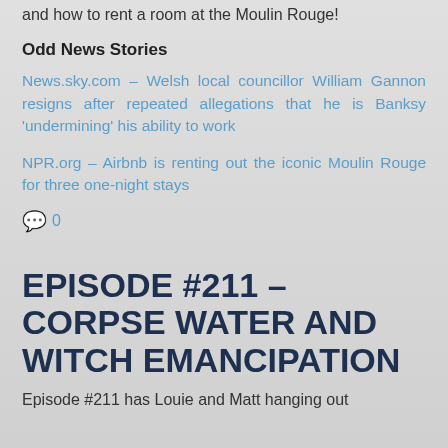and how to rent a room at the Moulin Rouge!
Odd News Stories
News.sky.com – Welsh local councillor William Gannon resigns after repeated allegations that he is Banksy 'undermining' his ability to work
NPR.org – Airbnb is renting out the iconic Moulin Rouge for three one-night stays
💬 0
EPISODE #211 – CORPSE WATER AND WITCH EMANCIPATION
Episode #211 has Louie and Matt hanging out